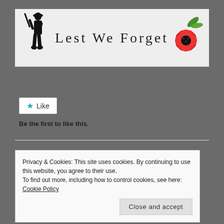[Figure (illustration): Website header banner with a black silhouette of a WW1 soldier on the left, text 'Lest We Forget' in the center, and a red poppy flower illustration on the right, on a light grey background.]
.
[Figure (other): A 'Like' button with a teal star icon and the word 'Like', styled as a bordered button.]
Be the first to like this.
Privacy & Cookies: This site uses cookies. By continuing to use this website, you agree to their use.
To find out more, including how to control cookies, see here: Cookie Policy
Close and accept